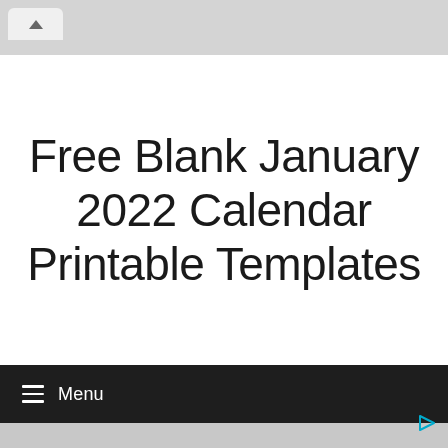[Figure (screenshot): Browser chrome top bar with upward chevron tab button on gray background]
Free Blank January 2022 Calendar Printable Templates
≡ Menu